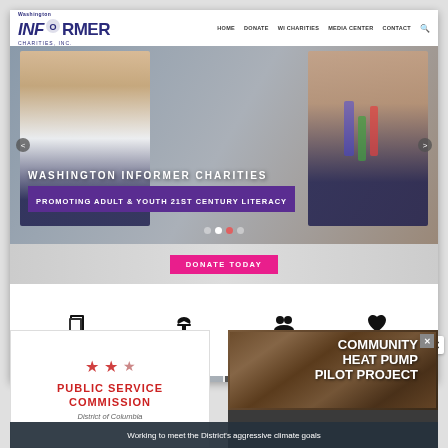[Figure (screenshot): Washington Informer Charities website screenshot showing navigation bar with logo and links (HOME, DONATE, WI CHARITIES, MEDIA CENTER, CONTACT), a hero image of children in a science classroom with overlay text 'WASHINGTON INFORMER CHARITIES / PROMOTING ADULT & YOUTH 21ST CENTURY LITERACY', carousel navigation dots, a DONATE TODAY button, four icon columns (WE SUPPORT, WE EDUCATE, WE RALLY, WE CARE), and a partial photos row below]
[Figure (infographic): Public Service Commission of the District of Columbia advertisement with red stars and red text]
[Figure (photo): Community Heat Pump Pilot Project advertisement with aerial photo background and white bold text, with close button]
Working to meet the District's aggressive climate goals